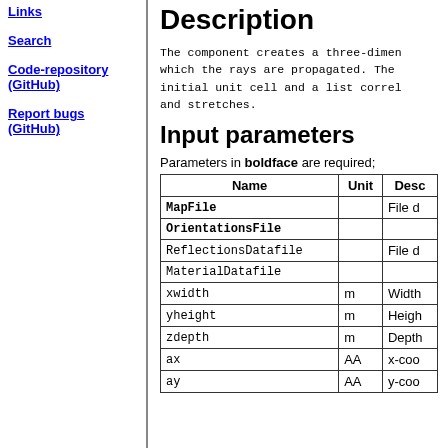Links
Search
Code-repository (GitHub)
Report bugs (GitHub)
Description
The component creates a three-dimensional space in which the rays are propagated. The ... initial unit cell and a list correl... and stretches.
Input parameters
Parameters in boldface are required;
| Name | Unit | Desc |
| --- | --- | --- |
| MapFile |  | File d |
| OrientationsFile |  |  |
| ReflectionsDatafile |  | File d |
| MaterialDatafile |  |  |
| xwidth | m | Width |
| yheight | m | Heigh |
| zdepth | m | Depth |
| ax | AA | x-coo |
| ay | AA | y-coo |